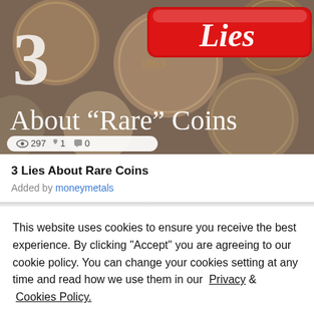[Figure (screenshot): Thumbnail image for '3 Lies About Rare Coins' video showing old coins in background, a large numeral 3, a red badge with italic 'Lies' text, and large serif text reading 'About "Rare" Coins'. Stats bar shows 297 views, 1 like, 0 comments.]
3 Lies About Rare Coins
Added by moneymetals
This website uses cookies to ensure you receive the best experience. By clicking "Accept" you are agreeing to our cookie policy. You can change your cookies setting at any time and read how we use them in our  Privacy &  Cookies Policy.
Accept   Learn more